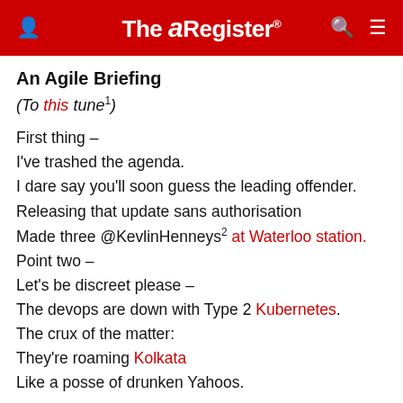The Register
An Agile Briefing
(To this tune¹)
First thing –
I've trashed the agenda.
I dare say you'll soon guess the leading offender.
Releasing that update sans authorisation
Made three @KevlinHenneys² at Waterloo station.
Point two –
Let's be discreet please –
The devops are down with Type 2 Kubernetes.
The crux of the matter:
They're roaming Kolkata
Like a posse of drunken Yahoos.